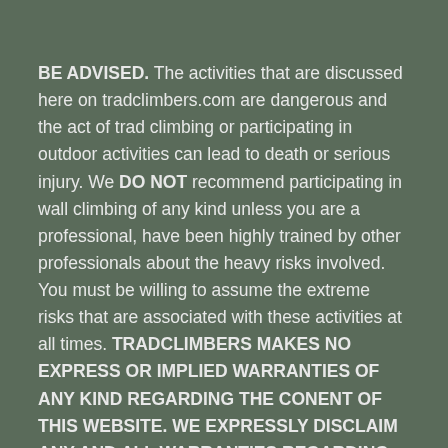BE ADVISED. The activities that are discussed here on tradclimbers.com are dangerous and the act of trad climbing or participating in outdoor activities can lead to death or serious injury. We DO NOT recommend participating in wall climbing of any kind unless you are a professional, have been highly trained by other professionals about the heavy risks involved. You must be willing to assume the extreme risks that are associated with these activities at all times. TRADCLIMBERS MAKES NO EXPRESS OR IMPLIED WARRANTIES OF ANY KIND REGARDING THE CONENT OF THIS WEBSITE. WE EXPRESSLY DISCLAIM ANY AND ALL WARRANTIES REGARDING THE ACCURACY OF THE INFORMATION HERE. TradClimbers further disclaim any harm, injuries or death incurred by any man or woman engaged in these activities. We advise using the information contained on this website at your own risk. Always seek out a